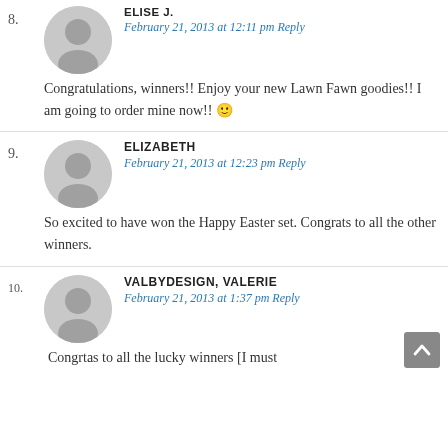8. ELISE J. — February 21, 2013 at 12:11 pm Reply — Congratulations, winners!! Enjoy your new Lawn Fawn goodies!! I am going to order mine now!! 🙂
9. ELIZABETH — February 21, 2013 at 12:23 pm Reply — So excited to have won the Happy Easter set. Congrats to all the other winners.
10. VALBYDESIGN, VALERIE — February 21, 2013 at 1:37 pm Reply — Congrtas to all the lucky winners [I must …